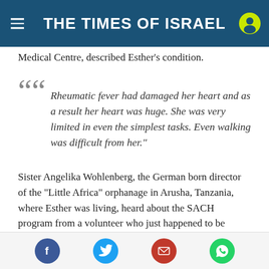THE TIMES OF ISRAEL
Medical Centre, described Esther’s condition.
“Rheumatic fever had damaged her heart and as a result her heart was huge. She was very limited in even the simplest tasks. Even walking was difficult from her.”
Sister Angelika Wohlenberg, the German born director of the “Little Africa” orphanage in Arusha, Tanzania, where Esther was living, heard about the SACH program from a volunteer who just happened to be riding the same bus as her from Kenya to Tanzania. Angelika contacted SACH and
Social share buttons: Facebook, Twitter, Email, WhatsApp